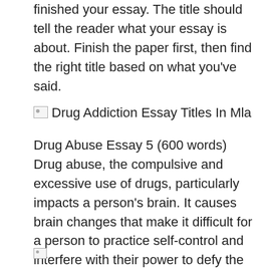finished your essay. The title should tell the reader what your essay is about. Finish the paper first, then find the right title based on what you've said.
[Figure (illustration): Small broken image icon followed by text: Drug Addiction Essay Titles In Mla]
Drug Abuse Essay 5 (600 words) Drug abuse, the compulsive and excessive use of drugs, particularly impacts a person's brain. It causes brain changes that make it difficult for a person to practice self-control and interfere with their power to defy the urge to take drugs. The changes in the functioning of the brain are inexorable and this is the reason why it often relapses. Even those who.
[Figure (illustration): Small broken image icon at bottom of page]